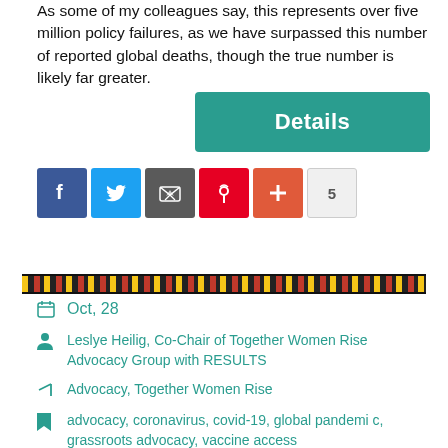As some of my colleagues say,  this represents over five million policy failures, as we have surpassed this number of reported global deaths, though the true number is likely far greater.
[Figure (screenshot): Teal 'Details' button]
[Figure (infographic): Social share icons: Facebook, Twitter, Email, Pinterest, Plus, count badge showing 5]
[Figure (infographic): Decorative zigzag divider bar in yellow, black, and red]
Oct, 28
Leslye Heilig, Co-Chair of Together Women Rise Advocacy Group with RESULTS
Advocacy, Together Women Rise
advocacy, coronavirus, covid-19, global pandemic, grassroots advocacy, vaccine access